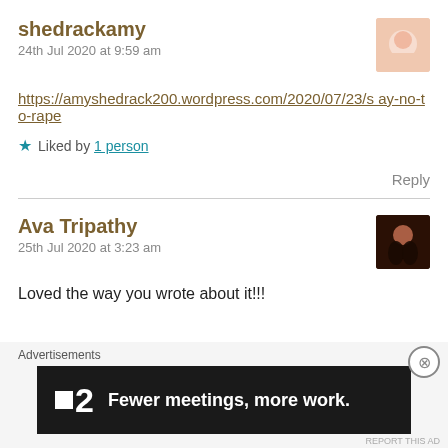shedrackamy
24th Jul 2020 at 9:59 am
https://amyshedrack200.wordpress.com/2020/07/23/say-no-to-rape
Liked by 1 person
Reply
Ava Tripathy
25th Jul 2020 at 3:23 am
Loved the way you wrote about it!!!
Advertisements
Fewer meetings, more work.